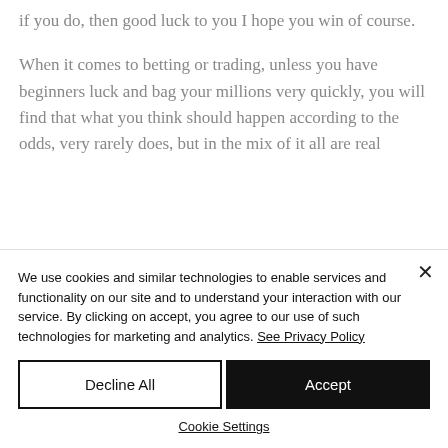if you do, then good luck to you I hope you win of course.
When it comes to betting or trading, unless you have beginners luck and bag your millions very quickly, you will find that what you think should happen according to the odds, very rarely does, but in the mix of it all are real
We use cookies and similar technologies to enable services and functionality on our site and to understand your interaction with our service. By clicking on accept, you agree to our use of such technologies for marketing and analytics. See Privacy Policy